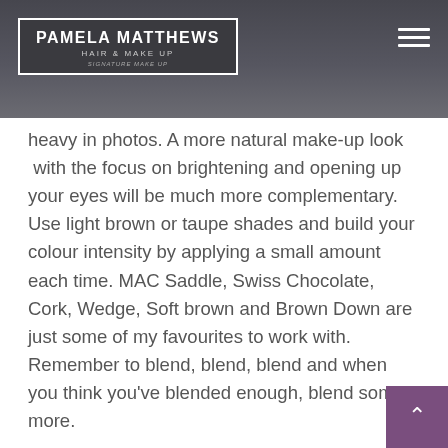PAMELA MATTHEWS HAIR & MAKE UP
heavy in photos. A more natural make-up look with the focus on brightening and opening up your eyes will be much more complementary. Use light brown or taupe shades and build your colour intensity by applying a small amount each time. MAC Saddle, Swiss Chocolate, Cork, Wedge, Soft brown and Brown Down are just some of my favourites to work with. Remember to blend, blend, blend and when you think you've blended enough, blend some more.
A little pop of shimmer on the lid can be very flattering in your photos but try to